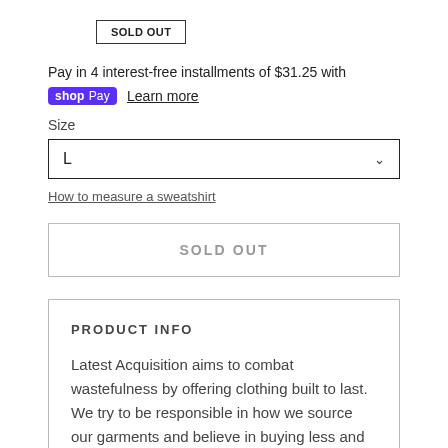SOLD OUT
Pay in 4 interest-free installments of $31.25 with
shop Pay  Learn more
Size
L
How to measure a sweatshirt
SOLD OUT
PRODUCT INFO
Latest Acquisition aims to combat wastefulness by offering clothing built to last. We try to be responsible in how we source our garments and believe in buying less and better quality clothing